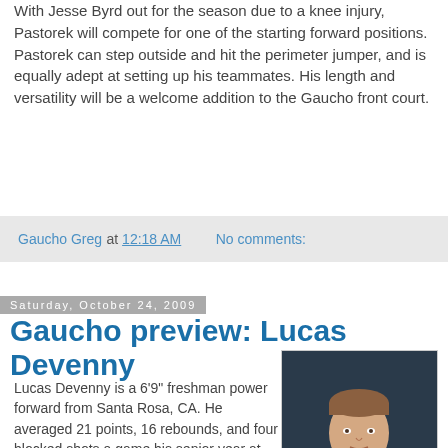With Jesse Byrd out for the season due to a knee injury, Pastorek will compete for one of the starting forward positions. Pastorek can step outside and hit the perimeter jumper, and is equally adept at setting up his teammates. His length and versatility will be a welcome addition to the Gaucho front court.
Gaucho Greg at 12:18 AM   No comments:
Saturday, October 24, 2009
Gaucho preview: Lucas Devenny
[Figure (photo): Headshot photo of Lucas Devenny, a young man in a blue polo shirt, against a dark background]
Lucas Devenny is a 6'9" freshman power forward from Santa Rosa, CA. He averaged 21 points, 16 rebounds, and four blocked shots a game his senior year at Piner High. Named to the Honorable Mention All-State and Second All-Bay Area teams, Devenny led Piner to three consecutive post-season